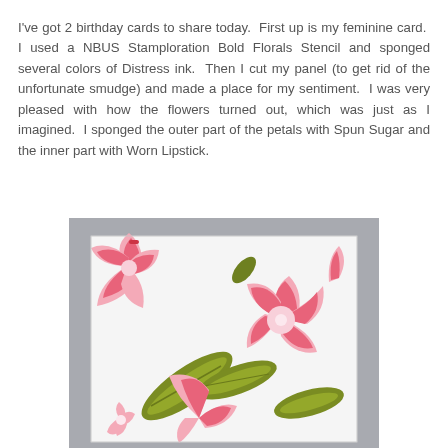I've got 2 birthday cards to share today.  First up is my feminine card.  I used a NBUS Stamploration Bold Florals Stencil and sponged several colors of Distress ink.  Then I cut my panel (to get rid of the unfortunate smudge) and made a place for my sentiment.  I was very pleased with how the flowers turned out, which was just as I imagined.  I sponged the outer part of the petals with Spun Sugar and the inner part with Worn Lipstick.
[Figure (photo): A handmade birthday card featuring large bold floral shapes sponged with pink (Spun Sugar outer, Worn Lipstick inner) and olive green leaf shapes on a white card panel, photographed on a grey background.]